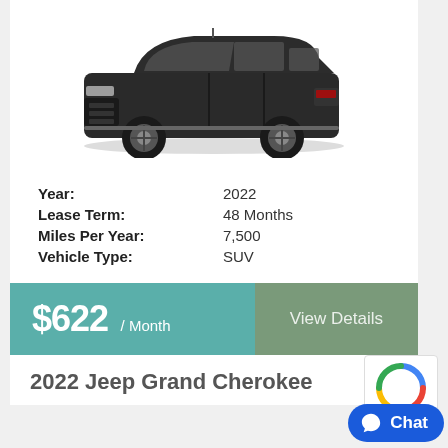[Figure (photo): Dark gray 2022 Jeep Grand Cherokee L SUV viewed from front-left angle on white background]
Year: 2022
Lease Term: 48 Months
Miles Per Year: 7,500
Vehicle Type: SUV
$622 / Month
View Details
2022 Jeep Grand Cherokee